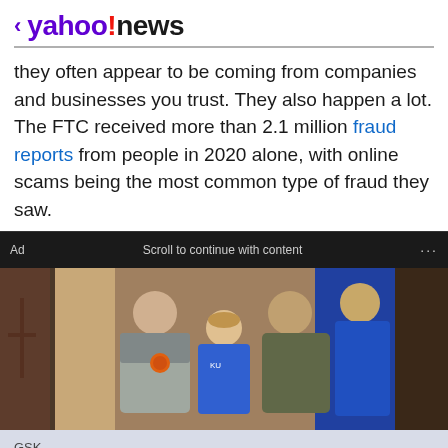< yahoo!news
they often appear to be coming from companies and businesses you trust. They also happen a lot. The FTC received more than 2.1 million fraud reports from people in 2020 alone, with online scams being the most common type of fraud they saw.
[Figure (photo): Advertisement banner showing a group of people posing for a photo, with ad label 'Ad', scroll prompt 'Scroll to continue with content', and three-dot menu.]
GSK
Getting Set for a Healthy Summer